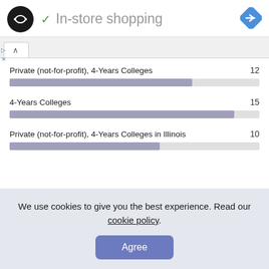In-store shopping
[Figure (bar-chart): College comparison bars]
We use cookies to give you the best experience. Read our cookie policy.
Agree